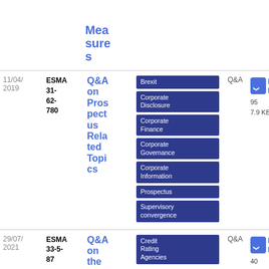| Date | Reference | Title | Tags | Type | Download |
| --- | --- | --- | --- | --- | --- |
|  |  | Measures | Brexit, Corporate Disclosure, Corporate Finance, Corporate Governance, Corporate Information, Prospectus, Supervisory convergence |  |  |
| 11/04/2019 | ESMA 31-62-780 | Q&A on Prospectus Related Topics | Brexit, Corporate Disclosure, Corporate Finance, Corporate Governance, Corporate Information, Prospectus, Supervisory convergence | Q&A | PDF 95 7.9 KB |
| 29/07/2021 | ESMA 33-5-87 | Q&A on the | Credit Rating Agencies | Q&A | PDF 40 |